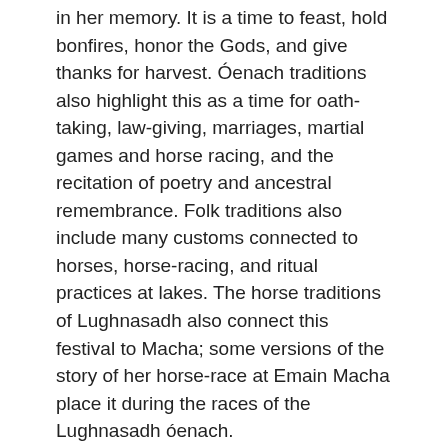in her memory. It is a time to feast, hold bonfires, honor the Gods, and give thanks for harvest. Óenach traditions also highlight this as a time for oath-taking, law-giving, marriages, martial games and horse racing, and the recitation of poetry and ancestral remembrance. Folk traditions also include many customs connected to horses, horse-racing, and ritual practices at lakes. The horse traditions of Lughnasadh also connect this festival to Macha; some versions of the story of her horse-race at Emain Macha place it during the races of the Lughnasadh óenach.
We honor both Lugh and Macha on this date. In Coru tradition, this is the time of taking oaths. It is also a great time to hold community gatherings, with bonfires, feasting, games and martial practices, and offerings. For Lugh, offerings of ale or whiskey, fruits of the season and grain